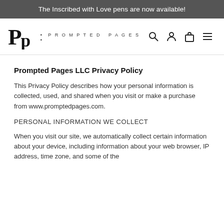The Inscribed with Love pens are now available!
[Figure (logo): Prompted Pages LLC logo with stylized PP monogram and text PROMPTED PAGES with navigation icons]
Prompted Pages LLC Privacy Policy
This Privacy Policy describes how your personal information is collected, used, and shared when you visit or make a purchase from www.promptedpages.com.
PERSONAL INFORMATION WE COLLECT
When you visit our site, we automatically collect certain information about your device, including information about your web browser, IP address, time zone, and some of the